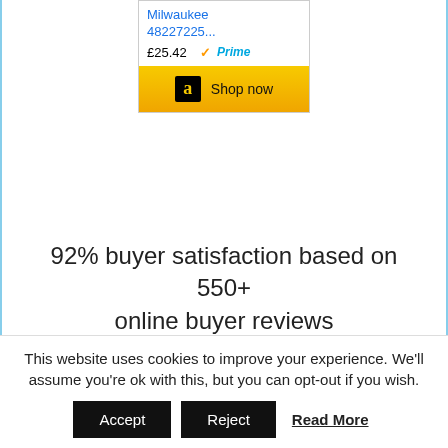[Figure (screenshot): Amazon product listing snippet showing Milwaukee 48227225... at £25.42 with Prime badge and Shop now button]
92% buyer satisfaction based on 550+ online buyer reviews
88% buyer satisfaction rating with 77% of all buyers giving this tape a full 5 star review
This is classed as a heavy duty
This website uses cookies to improve your experience. We'll assume you're ok with this, but you can opt-out if you wish.